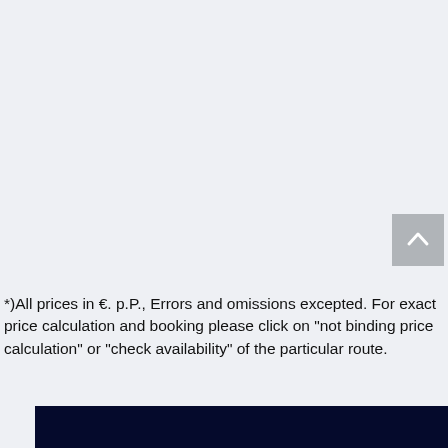*)All prices in €. p.P., Errors and omissions excepted. For exact price calculation and booking please click on "not binding price calculation" or "check availability" of the particular route.